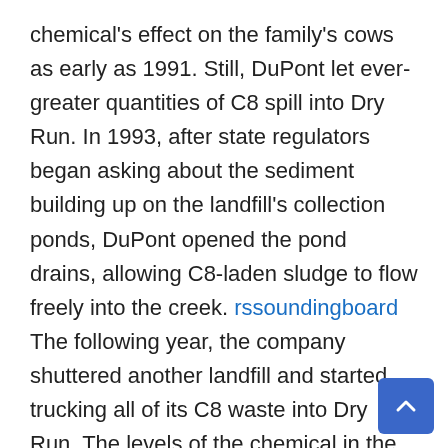chemical's effect on the family's cows as early as 1991. Still, DuPont let ever-greater quantities of C8 spill into Dry Run. In 1993, after state regulators began asking about the sediment building up on the landfill's collection ponds, DuPont opened the pond drains, allowing C8-laden sludge to flow freely into the creek. rssoundingboard The following year, the company shuttered another landfill and started trucking all of its C8 waste into Dry Run. The levels of the chemical in the creek soared to more than 80 times DuPont's own internal safety limit. It was around this time that the Tennants' cattle had started dying off in droves.
Not long before Sumner arrived, two prisoners armed with homemade knives had taken 10